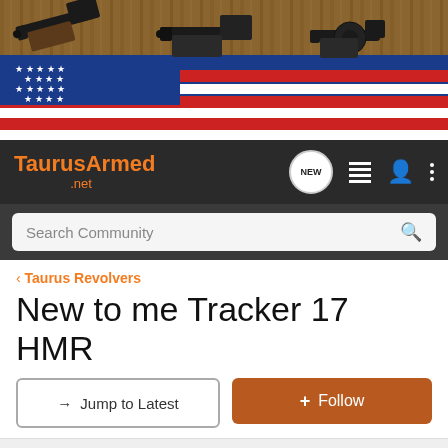[Figure (photo): Banner photo showing three handguns (semi-automatic pistols and a revolver) resting on an American flag against a wooden background. TaurusArmed.net forum header image.]
TaurusArmed .net | NEW | navigation icons
Search Community
< Taurus Revolvers
New to me Tracker 17 HMR
→ Jump to Latest
+ Follow
1 - 18 of 18 Posts
dos0711 · Registered
Joined Mar 19, 2013 · 6 Posts